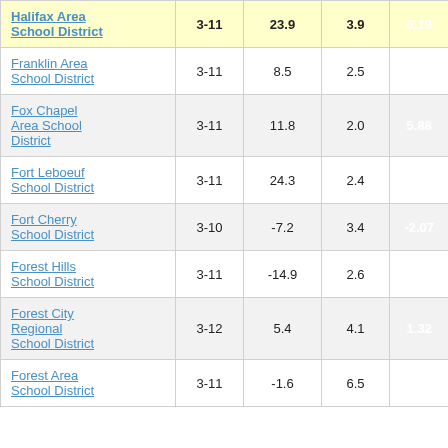| District | Grades | Col3 | Col4 | Score |
| --- | --- | --- | --- | --- |
| Halifax Area School District | 3-11 | 23.9 | 3.9 | 6.19 |
| Franklin Area School District | 3-11 | 8.5 | 2.5 | 3.37 |
| Fox Chapel Area School District | 3-11 | 11.8 | 2.0 | 5.88 |
| Fort Leboeuf School District | 3-11 | 24.3 | 2.4 | 9.95 |
| Fort Cherry School District | 3-10 | -7.2 | 3.4 | -2.07 |
| Forest Hills School District | 3-11 | -14.9 | 2.6 | -5.81 |
| Forest City Regional School District | 3-12 | 5.4 | 4.1 | 1.32 |
| Forest Area School District | 3-11 | -1.6 | 6.5 | -0.25 |